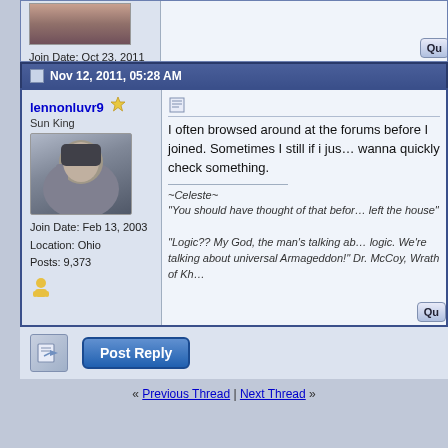Join Date: Oct 23, 2011
Location: USA
Posts: 29
Nov 12, 2011, 05:28 AM
lennonluvr9
Sun King
Join Date: Feb 13, 2003
Location: Ohio
Posts: 9,373
I often browsed around at the forums before I joined. Sometimes I still if i just wanna quickly check something.

~Celeste~
"You should have thought of that before left the house"

"Logic?? My God, the man's talking about logic. We're talking about universal Armageddon!" Dr. McCoy, Wrath of Kh
« Previous Thread | Next Thread »